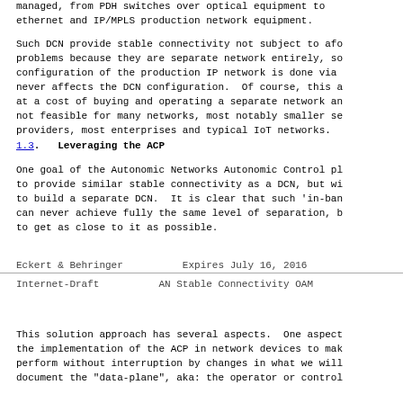managed, from PDH switches over optical equipment to ethernet and IP/MPLS production network equipment.
Such DCN provide stable connectivity not subject to aforementioned problems because they are separate network entirely, so configuration of the production IP network is done via never affects the DCN configuration. Of course, this at a cost of buying and operating a separate network and not feasible for many networks, most notably smaller service providers, most enterprises and typical IoT networks.
1.3. Leveraging the ACP
One goal of the Autonomic Networks Autonomic Control plane is to provide similar stable connectivity as a DCN, but without having to build a separate DCN. It is clear that such 'in-band' DCN can never achieve fully the same level of separation, but the goal is to get as close to it as possible.
Eckert & Behringer          Expires July 16, 2016
Internet-Draft          AN Stable Connectivity OAM
This solution approach has several aspects. One aspect is the implementation of the ACP in network devices to make it perform without interruption by changes in what we will document the "data-plane", aka: the operator or control